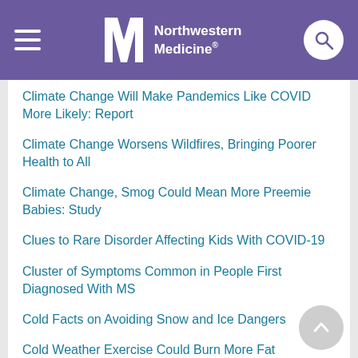Northwestern Medicine
Climate Change Will Make Pandemics Like COVID More Likely: Report
Climate Change Worsens Wildfires, Bringing Poorer Health to All
Climate Change, Smog Could Mean More Preemie Babies: Study
Clues to Rare Disorder Affecting Kids With COVID-19
Cluster of Symptoms Common in People First Diagnosed With MS
Cold Facts on Avoiding Snow and Ice Dangers
Cold Weather Exercise Could Burn More Fat
College Athletes, Performers Feeling Sidelined in